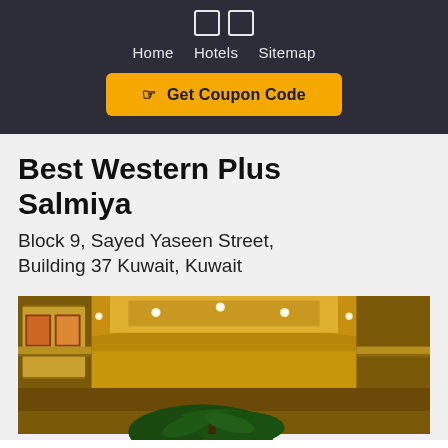☐☐ Home  Hotels  Sitemap
☞ Get Coupon Code
Best Western Plus Salmiya
Block 9, Sayed Yaseen Street, Building 37 Kuwait, Kuwait
[Figure (photo): Interior lobby photo of Best Western Plus Salmiya hotel showing warm golden lighting, high ceilings with recessed lights, artwork on walls, and tropical plant in foreground]